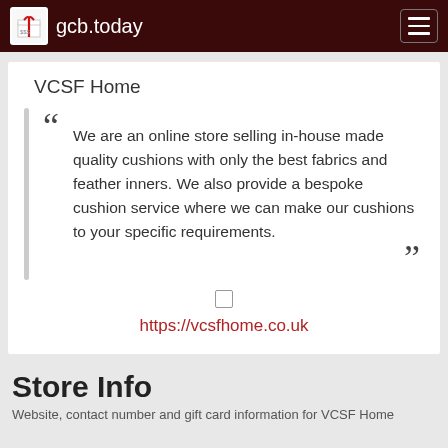gcb.today
VCSF Home
We are an online store selling in-house made quality cushions with only the best fabrics and feather inners. We also provide a bespoke cushion service where we can make our cushions to your specific requirements.
https://vcsfhome.co.uk
Store Info
Website, contact number and gift card information for VCSF Home